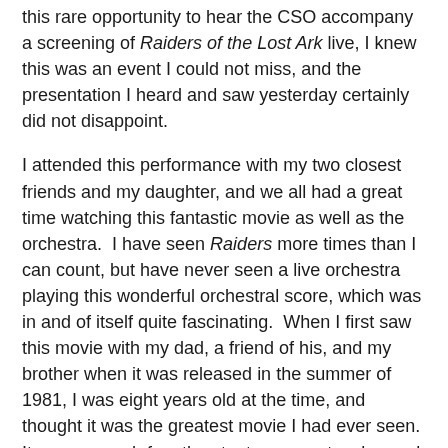this rare opportunity to hear the CSO accompany a screening of Raiders of the Lost Ark live, I knew this was an event I could not miss, and the presentation I heard and saw yesterday certainly did not disappoint.
I attended this performance with my two closest friends and my daughter, and we all had a great time watching this fantastic movie as well as the orchestra.  I have seen Raiders more times than I can count, but have never seen a live orchestra playing this wonderful orchestral score, which was in and of itself quite fascinating.  When I first saw this movie with my dad, a friend of his, and my brother when it was released in the summer of 1981, I was eight years old at the time, and thought it was the greatest movie I had ever seen.  It was so much fun, the stunts so spectacular, and the music so incredibly perfect for this movie, my father decided we should stay in the theater and see the movie again. After the second viewing I knew I would be coming back to the theater to see it again and again, which I did throughout that summer and into